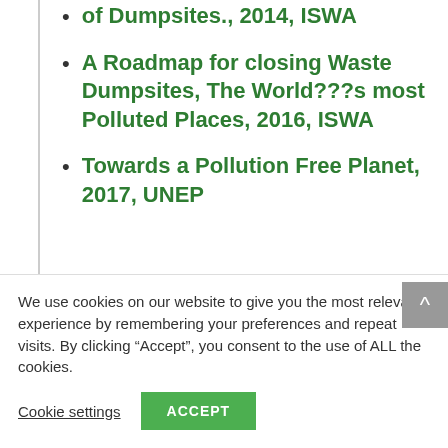of Dumpsites., 2014, ISWA
A Roadmap for closing Waste Dumpsites, The World???s most Polluted Places, 2016, ISWA
Towards a Pollution Free Planet, 2017, UNEP
For interview requests, images, further information and media please contact Daniel
We use cookies on our website to give you the most relevant experience by remembering your preferences and repeat visits. By clicking “Accept”, you consent to the use of ALL the cookies.
Cookie settings   ACCEPT